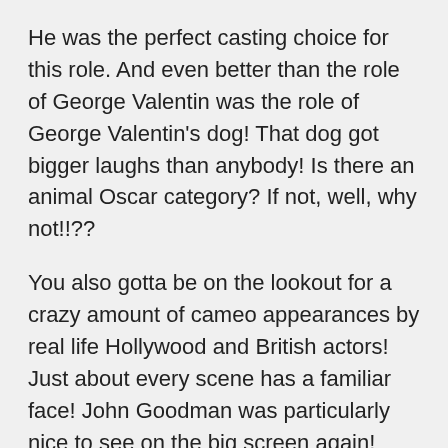He was the perfect casting choice for this role. And even better than the role of George Valentin was the role of George Valentin's dog! That dog got bigger laughs than anybody! Is there an animal Oscar category? If not, well, why not!!??
You also gotta be on the lookout for a crazy amount of cameo appearances by real life Hollywood and British actors! Just about every scene has a familiar face! John Goodman was particularly nice to see on the big screen again! James Cromwell also put in a stellar performance.
The music and sound are key in this film just by its very nature. It is used wisely. I can't get the incidental music out of my head! My life needs such soundtrack!
The Artist and his charming mug have completely won me over. Between this and Chicken With Plums, Day 7 is